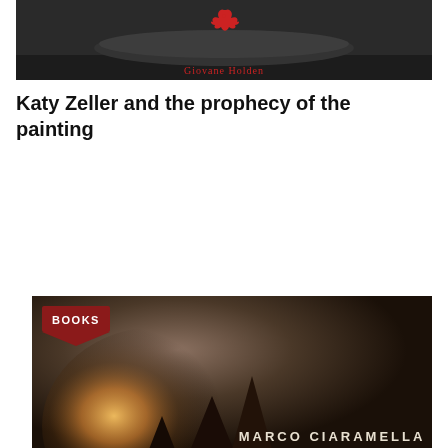[Figure (photo): Top portion of a book cover with dark background showing a log or stone and a red bird/phoenix logo with text 'Giovane Holden' below it]
Katy Zeller and the prophecy of the painting
[Figure (photo): Book cover for 'Oscuri misteri' by Marco Ciaramella, showing a dark atmospheric image of a historical building with dramatic light, with a red 'BOOKS' badge in the top left corner]